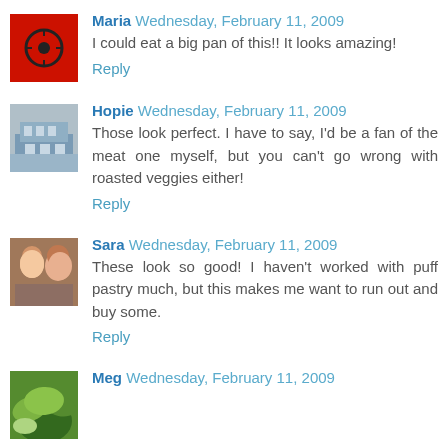[Figure (photo): Avatar image for Maria - red background with dark circular icon]
Maria Wednesday, February 11, 2009
I could eat a big pan of this!! It looks amazing!
Reply
[Figure (photo): Avatar image for Hopie - outdoor/building photo]
Hopie Wednesday, February 11, 2009
Those look perfect. I have to say, I'd be a fan of the meat one myself, but you can't go wrong with roasted veggies either!
Reply
[Figure (photo): Avatar image for Sara - photo of two people]
Sara Wednesday, February 11, 2009
These look so good! I haven't worked with puff pastry much, but this makes me want to run out and buy some.
Reply
[Figure (photo): Avatar image for Meg - green plant photo]
Meg Wednesday, February 11, 2009